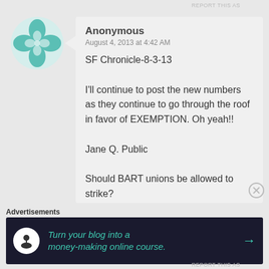[Figure (logo): Teal decorative cross/flower logo avatar for anonymous commenter]
Anonymous
August 4, 2013 at 4:42 AM
SF Chronicle-8-3-13

I'll continue to post the new numbers as they continue to go through the roof in favor of EXEMPTION. Oh yeah!!

Jane Q. Public

Should BART unions be allowed to strike?
Yes. transit workers should have the
Advertisements
[Figure (screenshot): Dark advertisement banner: 'Turn your blog into a money-making online course.' with arrow button]